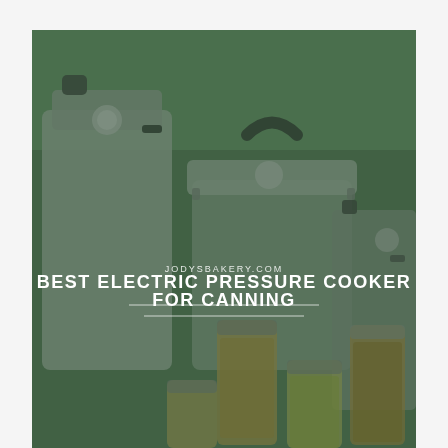[Figure (photo): Photograph of multiple large stainless steel pressure cookers/canners on a countertop with glass canning jars filled with preserved foods in the foreground. The image has a dark green tinted overlay. In the center of the image, white text reads 'JODYSBAKERY.COM' above the bold title 'BEST ELECTRIC PRESSURE COOKER FOR CANNING' with a thin horizontal dividing line below the title.]